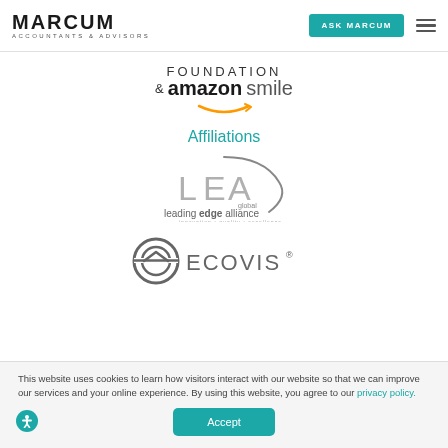MARCUM ACCOUNTANTS & ADVISORS — ASK MARCUM
[Figure (logo): FOUNDATION & amazonsmile logo with smile arrow underneath]
Affiliations
[Figure (logo): LEA Global — leading edge alliance logo with text 'innovation • quality • excellence']
[Figure (logo): ECOVIS logo with circular icon]
This website uses cookies to learn how visitors interact with our website so that we can improve our services and your online experience. By using this website, you agree to our privacy policy.